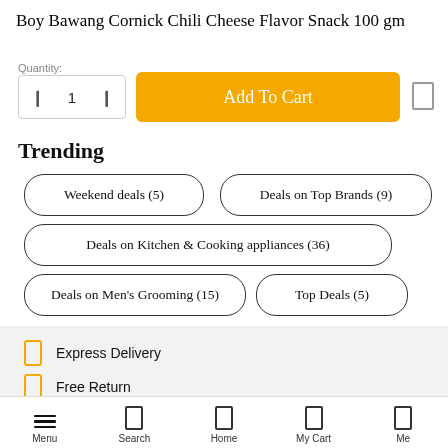Boy Bawang Cornick Chili Cheese Flavor Snack 100 gm
Quantity:
1
Add To Cart
Trending
Weekend deals (5)
Deals on Top Brands (9)
Deals on Kitchen & Cooking appliances (36)
Deals on Men's Grooming (15)
Top Deals (5)
Express Delivery
Free Return
Safe Shopping
Menu  Search  Home  My Cart  Me